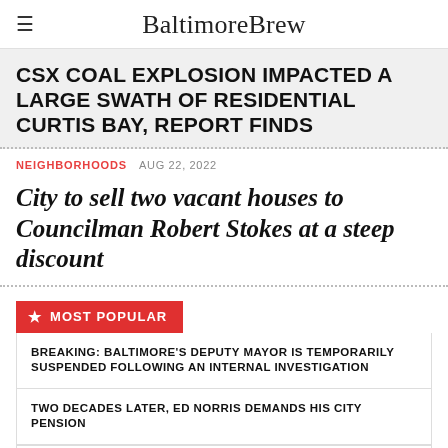BaltimoreBrew
CSX COAL EXPLOSION IMPACTED A LARGE SWATH OF RESIDENTIAL CURTIS BAY, REPORT FINDS
NEIGHBORHOODS   AUG 22, 2022
City to sell two vacant houses to Councilman Robert Stokes at a steep discount
MOST POPULAR
BREAKING: BALTIMORE'S DEPUTY MAYOR IS TEMPORARILY SUSPENDED FOLLOWING AN INTERNAL INVESTIGATION
TWO DECADES LATER, ED NORRIS DEMANDS HIS CITY PENSION